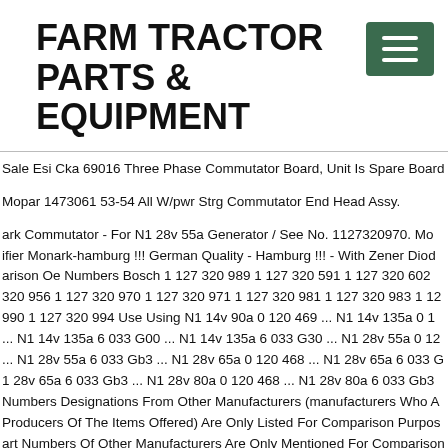FARM TRACTOR PARTS & EQUIPMENT
[Figure (other): Green hamburger menu button with three white horizontal lines]
Sale Esi Cka 69016 Three Phase Commutator Board, Unit Is Spare Board
Mopar 1473061 53-54 All W/pwr Strg Commutator End Head Assy.
ark Commutator - For N1 28v 55a Generator / See No. 1127320970. Mo ifier Monark-hamburg !!! German Quality - Hamburg !!! - With Zener Diod arison Oe Numbers Bosch 1 127 320 989 1 127 320 591 1 127 320 602 320 956 1 127 320 970 1 127 320 971 1 127 320 981 1 127 320 983 1 12 990 1 127 320 994 Use Using N1 14v 90a 0 120 469 ... N1 14v 135a 0 1 ... N1 14v 135a 6 033 G00 ... N1 14v 135a 6 033 G30 ... N1 28v 55a 0 12 ... N1 28v 55a 6 033 Gb3 ... N1 28v 65a 0 120 468 ... N1 28v 65a 6 033 G 1 28v 65a 6 033 Gb3 ... N1 28v 80a 0 120 468 ... N1 28v 80a 6 033 Gb3 Numbers Designations From Other Manufacturers (manufacturers Who A Producers Of The Items Offered) Are Only Listed For Comparison Purpos art Numbers Of Other Manufacturers Are Only Mentioned For Comparison